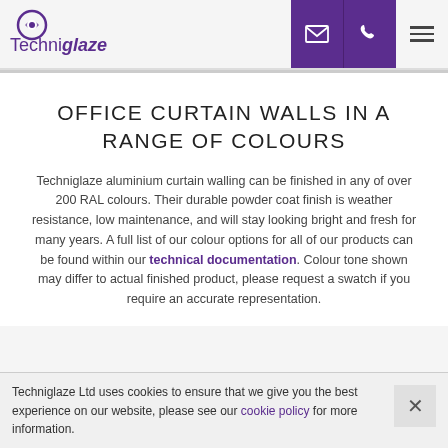[Figure (logo): Techniglaze logo with circular icon containing arrows and company name]
OFFICE CURTAIN WALLS IN A RANGE OF COLOURS
Techniglaze aluminium curtain walling can be finished in any of over 200 RAL colours. Their durable powder coat finish is weather resistance, low maintenance, and will stay looking bright and fresh for many years. A full list of our colour options for all of our products can be found within our technical documentation. Colour tone shown may differ to actual finished product, please request a swatch if you require an accurate representation.
Techniglaze Ltd uses cookies to ensure that we give you the best experience on our website, please see our cookie policy for more information.